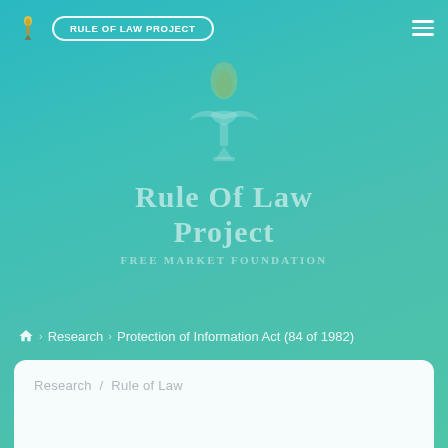RULE OF LAW PROJECT
[Figure (logo): Rule of Law Project / Free Market Foundation watermark logo with torch/flame emblem centered on teal gradient background]
Research › Protection of Information Act (84 of 1982)
Research / Rule of Law